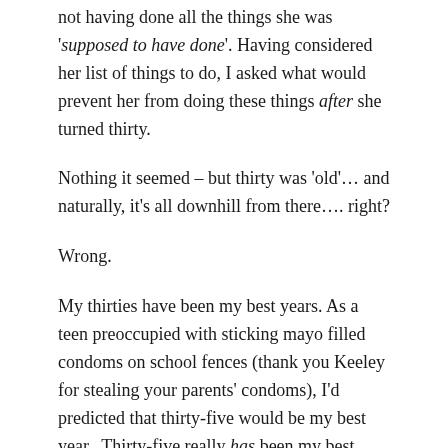not having done all the things she was 'supposed to have done'. Having considered her list of things to do, I asked what would prevent her from doing these things after she turned thirty.
Nothing it seemed – but thirty was 'old'… and naturally, it's all downhill from there…. right?
Wrong.
My thirties have been my best years. As a teen preoccupied with sticking mayo filled condoms on school fences (thank you Keeley for stealing your parents' condoms), I'd predicted that thirty-five would be my best year.  Thirty-five really has been my best year, but not because I finally got that J.LO body, or that my smile suddenly gave me the softness of